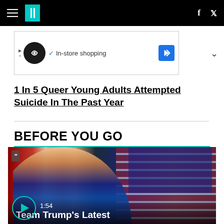HuffPost navigation bar with hamburger menu, logo, Facebook and Twitter icons
[Figure (screenshot): Advertisement banner with circular logo, 'In-store shopping' text and blue diamond navigation icon]
1 In 5 Queer Young Adults Attempted Suicide In The Past Year
BEFORE YOU GO
[Figure (screenshot): Video thumbnail showing a man in a suit with US flags in background, play button, duration 1:54, caption 'Team Trump's Latest']